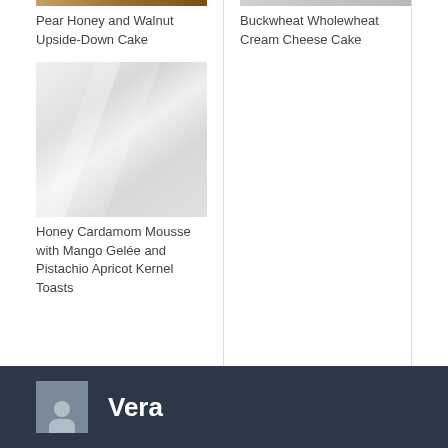[Figure (photo): Partial top image of Pear Honey and Walnut Upside-Down Cake (cropped, only thin strip visible)]
Pear Honey and Walnut Upside-Down Cake
[Figure (photo): Partial top image of Buckwheat Wholewheat Cream Cheese Cake (cropped, only thin strip visible)]
Buckwheat Wholewheat Cream Cheese Cake
[Figure (photo): Placeholder image for Honey Cardamom Mousse with Mango Gelée and Pistachio Apricot Kernel Toasts]
Honey Cardamom Mousse with Mango Gelée and Pistachio Apricot Kernel Toasts
Vera